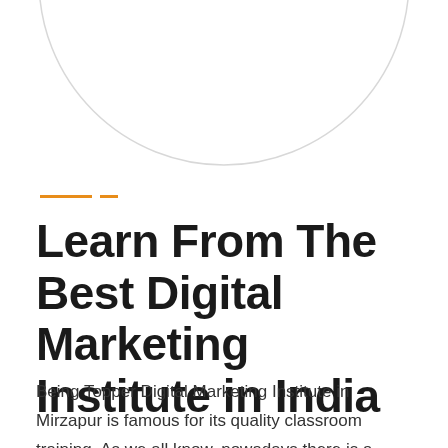[Figure (illustration): Partial circle outline visible at top of page, cropped, light gray stroke, no fill]
Learn From The Best Digital Marketing Institute in India
Being Topper Digital Marketing Institute in Mirzapur is famous for its quality classroom training. As we all know, nowadays there is a Digital Revolution in India.